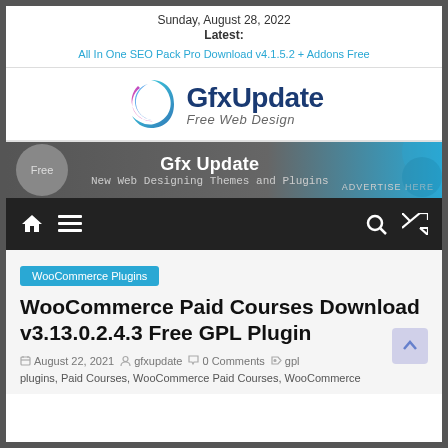Sunday, August 28, 2022
Latest:
All In One SEO Pack Pro Download v4.1.5.2 + Addons Free
[Figure (logo): GfxUpdate Free Web Design logo with swirl icon]
[Figure (infographic): Gfx Update advertisement banner: Free | New Web Designing Themes and Plugins | ADVERTISE HERE]
[Figure (infographic): Navigation bar with home, menu, search, and shuffle icons]
WooCommerce Plugins
WooCommerce Paid Courses Download v3.13.0.2.4.3 Free GPL Plugin
August 22, 2021 | gfxupdate | 0 Comments | gpl
plugins, Paid Courses, WooCommerce Paid Courses, WooCommerce